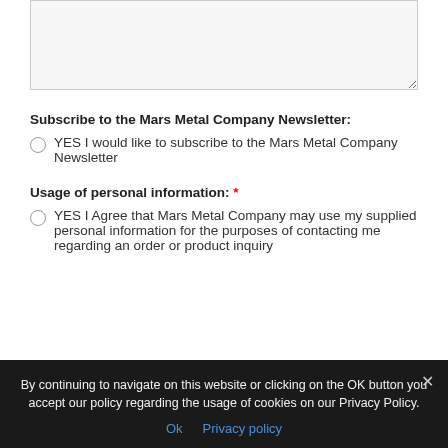[Textarea input field]
Subscribe to the Mars Metal Company Newsletter:
YES I would like to subscribe to the Mars Metal Company Newsletter
Usage of personal information: *
YES I Agree that Mars Metal Company may use my supplied personal information for the purposes of contacting me regarding an order or product inquiry
[Captcha/reCAPTCHA widget area]
By continuing to navigate on this website or clicking on the OK button you accept our policy regarding the usage of cookies on our Privacy Policy.
Ok  Privacy policy